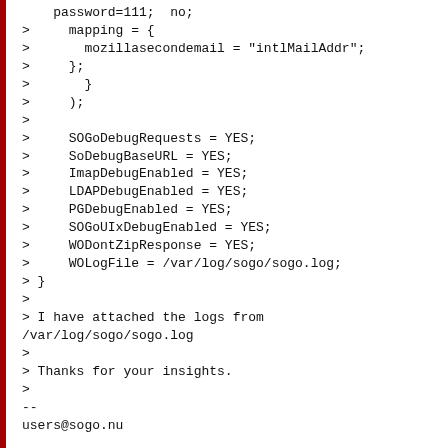>     mapping = {
>       mozillasecondemail = "intlMailAddr";
>     };
>       }
>     );
>
>     SOGoDebugRequests = YES;
>     SoDebugBaseURL = YES;
>     ImapDebugEnabled = YES;
>     LDAPDebugEnabled = YES;
>     PGDebugEnabled = YES;
>     SOGoUIxDebugEnabled = YES;
>     WODontZipResponse = YES;
>     WOLogFile = /var/log/sogo/sogo.log;
> }
>
> I have attached the logs from
/var/log/sogo/sogo.log
>
> Thanks for your insights.
>
--
users@sogo.nu